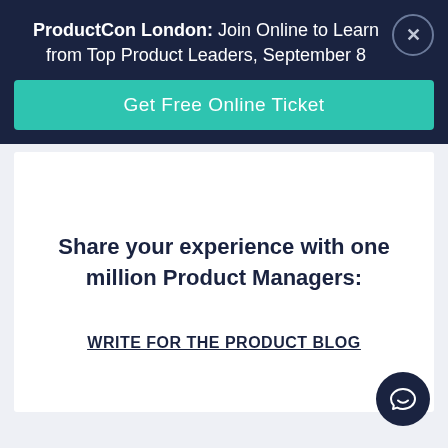ProductCon London: Join Online to Learn from Top Product Leaders, September 8
Get Free Online Ticket
Share your experience with one million Product Managers:
WRITE FOR THE PRODUCT BLOG